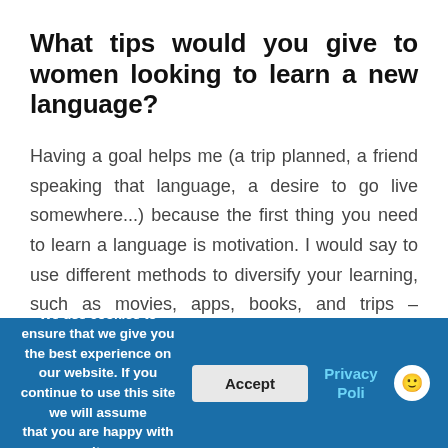What tips would you give to women looking to learn a new language?
Having a goal helps me (a trip planned, a friend speaking that language, a desire to go live somewhere...) because the first thing you need to learn a language is motivation. I would say to use different methods to diversify your learning, such as movies, apps, books, and trips – obviously the most immersive the better. Every time you have an opportunity to practice, take it, and give
We use cookies to ensure that we give you the best experience on our website. If you continue to use this site we will assume that you are happy with it.